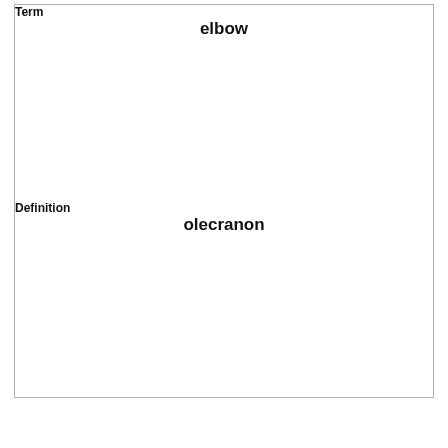| Term |
| --- |
| elbow |
|  |
|  |
|  |
|  |
|  |
|  |
| Definition |
| olecranon |
|  |
|  |
|  |
|  |
|  |
|  |